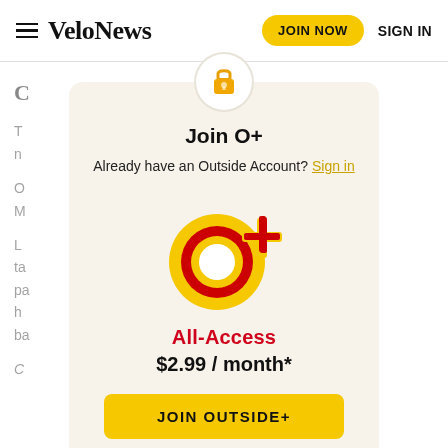VeloNews | JOIN NOW | SIGN IN
C
T… n…
O… M…
L… ta… pa… h… ba…
[Figure (logo): Lock icon inside white circle]
Join O+
Already have an Outside Account? Sign in
[Figure (logo): O+ All-Access logo: large yellow O with red outline and yellow + sign]
All-Access
$2.99 / month*
JOIN OUTSIDE+